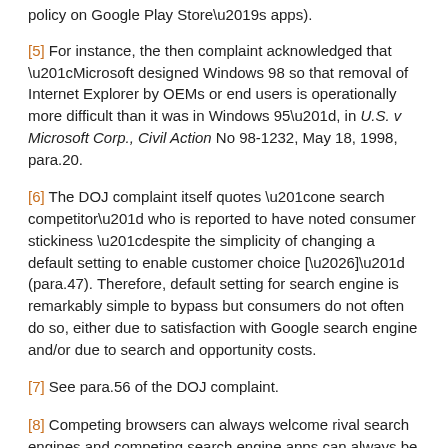policy on Google Play Store’s apps).
[5] For instance, the then complaint acknowledged that “Microsoft designed Windows 98 so that removal of Internet Explorer by OEMs or end users is operationally more difficult than it was in Windows 95”, in U.S. v Microsoft Corp., Civil Action No 98-1232, May 18, 1998, para.20.
[6] The DOJ complaint itself quotes “one search competitor” who is reported to have noted consumer stickiness “despite the simplicity of changing a default setting to enable customer choice […]” (para.47). Therefore, default setting for search engine is remarkably simple to bypass but consumers do not often do so, either due to satisfaction with Google search engine and/or due to search and opportunity costs.
[7] See para.56 of the DOJ complaint.
[8] Competing browsers can always welcome rival search engines and competing search engine apps can always be downloaded despite revenue sharing agreements. See paras.78-87 of the DOJ complaint.
[9] Google search engine is nothing but a “webware” – a complex set of algorithms that work via online access of a